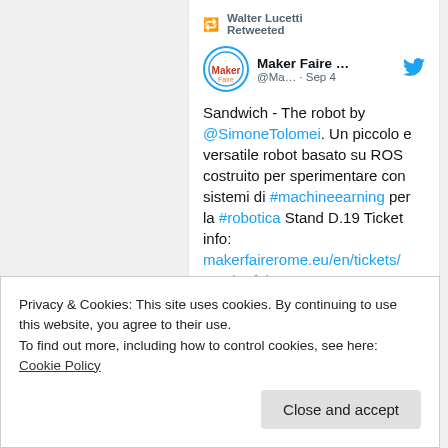Walter Lucetti Retweeted
Maker Faire ... @Ma... · Sep 4
Sandwich - The robot by @SimoneTolomei. Un piccolo e versatile robot basato su ROS costruito per sperimentare con sistemi di #machineearning per la #robotica Stand D.19 Ticket info: makerfairerome.eu/en/tickets/ #makerfairerome #MFR2022
Privacy & Cookies: This site uses cookies. By continuing to use this website, you agree to their use.
To find out more, including how to control cookies, see here: Cookie Policy
Close and accept